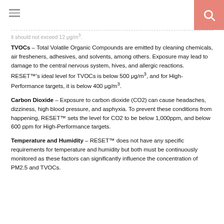[hamburger menu] [search icon]
it should not exceed 12 μg/m³.
TVOCs – Total Volatile Organic Compounds are emitted by cleaning chemicals, air fresheners, adhesives, and solvents, among others. Exposure may lead to damage to the central nervous system, hives, and allergic reactions. RESET™'s ideal level for TVOCs is below 500 μg/m³, and for High-Performance targets, it is below 400 μg/m³.
Carbon Dioxide – Exposure to carbon dioxide (CO2) can cause headaches, dizziness, high blood pressure, and asphyxia. To prevent these conditions from happening, RESET™ sets the level for CO2 to be below 1,000ppm, and below 600 ppm for High-Performance targets.
Temperature and Humidity – RESET™ does not have any specific requirements for temperature and humidity but both must be continuously monitored as these factors can significantly influence the concentration of PM2.5 and TVOCs.